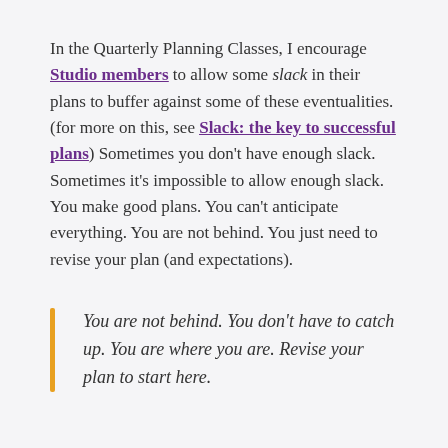In the Quarterly Planning Classes, I encourage Studio members to allow some slack in their plans to buffer against some of these eventualities. (for more on this, see Slack: the key to successful plans) Sometimes you don't have enough slack. Sometimes it's impossible to allow enough slack. You make good plans. You can't anticipate everything. You are not behind. You just need to revise your plan (and expectations).
You are not behind. You don't have to catch up. You are where you are. Revise your plan to start here.